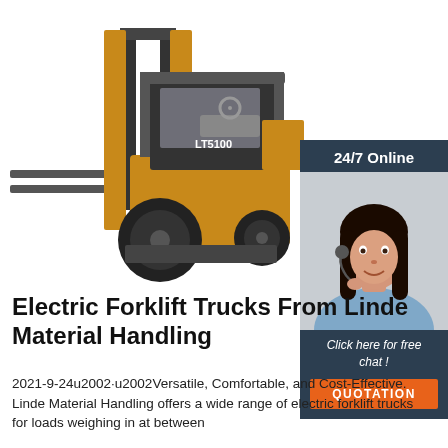[Figure (photo): Yellow and black electric forklift truck (model LT5100) on white background, forks extended to the left, viewed from the front-left side.]
[Figure (infographic): 24/7 Online chat widget with woman wearing headset, text 'Click here for free chat!' and orange QUOTATION button on dark navy background.]
Electric Forklift Trucks From Linde Material Handling
2021-9-24u2002·u2002Versatile, Comfortable, and Cost-Effective. Linde Material Handling offers a wide range of electric forklift trucks for loads weighing in at between